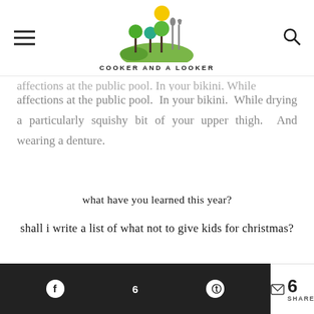COOKER AND A LOOKER
affections at the public pool. In your bikini. While drying a particularly squishy bit of your upper thigh. And wearing a denture.
what have you learned this year?
shall i write a list of what not to give kids for christmas?
6 SHARES